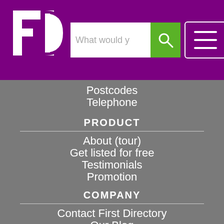[Figure (logo): FD logo - white letters F and D on purple background]
What would y
Postcodes
Telephone
PRODUCT
About (tour)
Get listed for free
Testimonials
Promotion
COMPANY
Contact First Directory
Our Blog
Sitemap
History